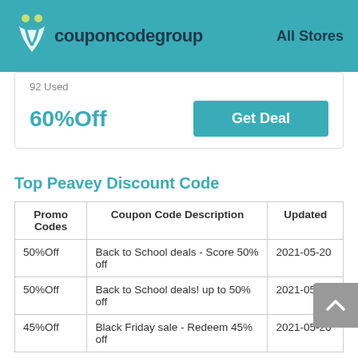couponcodegroup — All Stores
92 Used
60%Off
Get Deal
Top Peavey Discount Code
| Promo Codes | Coupon Code Description | Updated |
| --- | --- | --- |
| 50%Off | Back to School deals - Score 50% off | 2021-05-20 |
| 50%Off | Back to School deals! up to 50% off | 2021-05-20 |
| 45%Off | Black Friday sale - Redeem 45% off | 2021-05-20 |